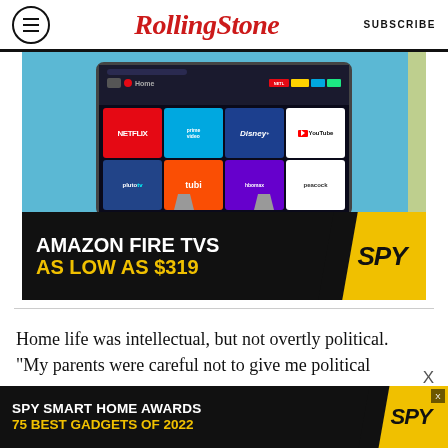Rolling Stone  SUBSCRIBE
[Figure (photo): Amazon Fire TV advertisement showing a smart TV with streaming app icons (Netflix, Prime Video, Disney+, YouTube, Hulu, Pluto TV, Tubi, HBO Max, Discovery, Peacock) on a blue background, with black banner reading 'AMAZON FIRE TVS AS LOW AS $319' and SPY logo on yellow background]
Home life was intellectual, but not overtly political. "My parents were careful not to give me political
[Figure (infographic): SPY Smart Home Awards advertisement - black background with yellow text reading 'SPY SMART HOME AWARDS 75 BEST GADGETS OF 2022' and SPY logo on yellow background]